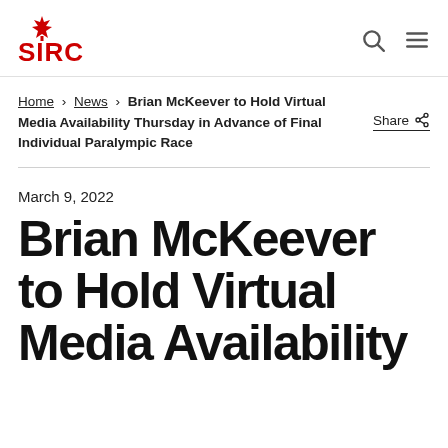SIRC
Home > News > Brian McKeever to Hold Virtual Media Availability Thursday in Advance of Final Individual Paralympic Race
Share
March 9, 2022
Brian McKeever to Hold Virtual Media Availability